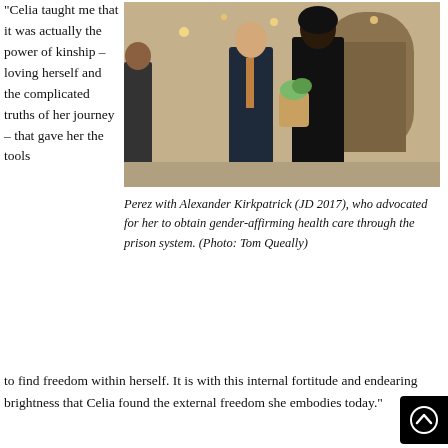“Celia taught me that it was actually the power of kinship – loving herself and the complicated truths of her journey – that gave her the tools to find freedom within herself. It is with this internal fortitude and endearing brightness that Celia found the external freedom she embodies today.”
[Figure (photo): Two people standing together in front of an archway with lights. One person in a dark suit and one person in a dark coat holding a wrapped bouquet.]
Perez with Alexander Kirkpatrick (JD 2017), who advocated for her to obtain gender-affirming health care through the prison system. (Photo: Tom Queally)